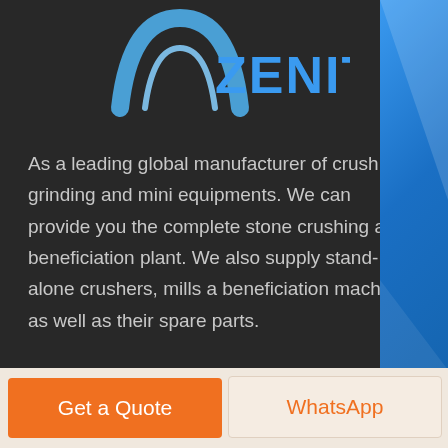[Figure (logo): Zenit company logo - blue arch/tent shape with ZENIT text in blue capital letters]
As a leading global manufacturer of crushing, grinding and mini equipments. We can provide you the complete stone crushing a beneficiation plant. We also supply stand-alone crushers, mills a beneficiation machines as well as their spare parts.
Contact Us
You can get contact with us through online consulting, demand table submission, e-mails and telephones.
Phone: +86-21-58386256